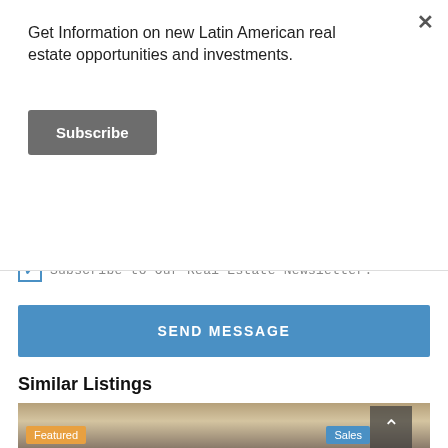Get Information on new Latin American real estate opportunities and investments.
Subscribe
[Figure (screenshot): A textarea input field with a resize handle at the bottom-right corner]
Subscribe to Our Real Estate Newsletter.
SEND MESSAGE
Similar Listings
[Figure (photo): A real estate listing photo showing a pergola or lattice roof structure with Featured and Sales tags overlaid]